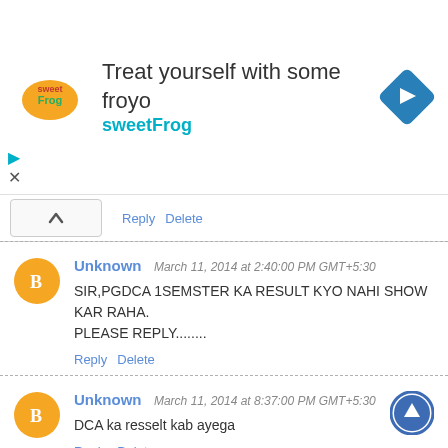[Figure (infographic): Advertisement banner for sweetFrog frozen yogurt: logo on left, 'Treat yourself with some froyo' headline, 'sweetFrog' brand name in teal, navigation arrow icon on right]
Reply  Delete
Unknown  March 11, 2014 at 2:40:00 PM GMT+5:30
SIR,PGDCA 1SEMSTER KA RESULT KYO NAHI SHOW KAR RAHA.
PLEASE REPLY........
Reply  Delete
Unknown  March 11, 2014 at 8:37:00 PM GMT+5:30
DCA ka resselt kab ayega
Reply  Delete
safeelirshad@  March 12, 2014 at 9:09:00 AM GMT+5:30